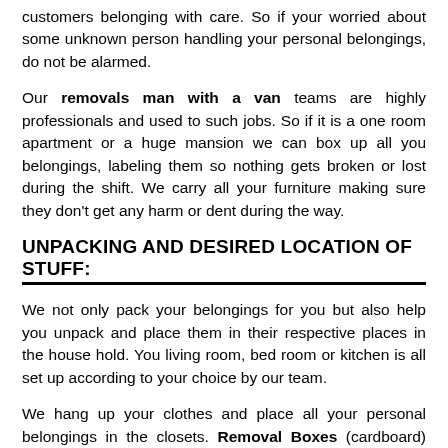customers belonging with care. So if your worried about some unknown person handling your personal belongings, do not be alarmed.
Our removals man with a van teams are highly professionals and used to such jobs. So if it is a one room apartment or a huge mansion we can box up all you belongings, labeling them so nothing gets broken or lost during the shift. We carry all your furniture making sure they don't get any harm or dent during the way.
UNPACKING AND DESIRED LOCATION OF STUFF:
We not only pack your belongings for you but also help you unpack and place them in their respective places in the house hold. You living room, bed room or kitchen is all set up according to your choice by our team.
We hang up your clothes and place all your personal belongings in the closets. Removal Boxes (cardboard) that aren't needed are carried and stored for you in your garage